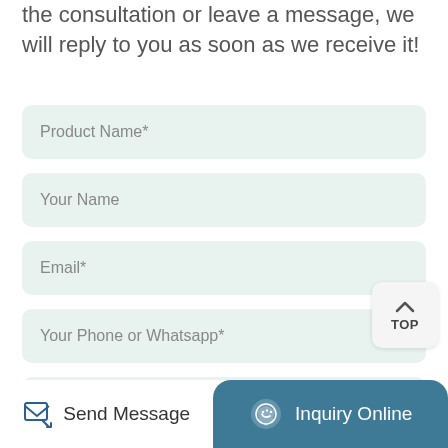the consultation or leave a message, we will reply to you as soon as we receive it!
Product Name*
Your Name
Email*
TOP
Your Phone or Whatsapp*
Please fill in here the products you need information
Send Message
Inquiry Online